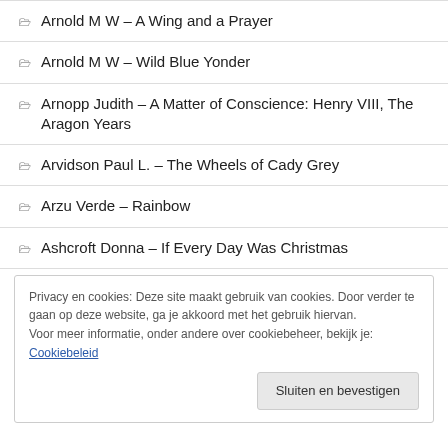Arnold M W – A Wing and a Prayer
Arnold M W – Wild Blue Yonder
Arnopp Judith – A Matter of Conscience: Henry VIII, The Aragon Years
Arvidson Paul L. – The Wheels of Cady Grey
Arzu Verde – Rainbow
Ashcroft Donna – If Every Day Was Christmas
Privacy en cookies: Deze site maakt gebruik van cookies. Door verder te gaan op deze website, ga je akkoord met het gebruik hiervan. Voor meer informatie, onder andere over cookiebeheer, bekijk je: Cookiebeleid
Sluiten en bevestigen